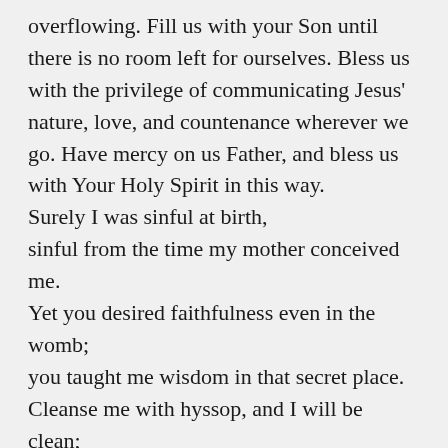overflowing. Fill us with your Son until there is no room left for ourselves. Bless us with the privilege of communicating Jesus' nature, love, and countenance wherever we go. Have mercy on us Father, and bless us with Your Holy Spirit in this way.
Surely I was sinful at birth,
sinful from the time my mother conceived me.
Yet you desired faithfulness even in the womb;
you taught me wisdom in that secret place.
Cleanse me with hyssop, and I will be clean;
wash me, and I will be whiter than snow.
Let me hear joy and gladness;
let the bones you have crushed rejoice.